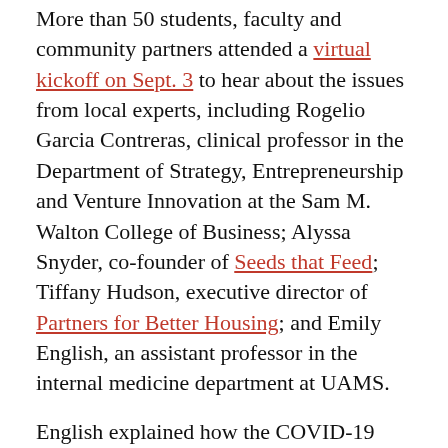More than 50 students, faculty and community partners attended a virtual kickoff on Sept. 3 to hear about the issues from local experts, including Rogelio Garcia Contreras, clinical professor in the Department of Strategy, Entrepreneurship and Venture Innovation at the Sam M. Walton College of Business; Alyssa Snyder, co-founder of Seeds that Feed; Tiffany Hudson, executive director of Partners for Better Housing; and Emily English, an assistant professor in the internal medicine department at UAMS.
English explained how the COVID-19 pandemic has highlighted the "fragile web" of access to food, housing and adequate health for many NWA residents.
"When that (web) is so fragile and vulnerable, things like COVID-19, unemployment, rent